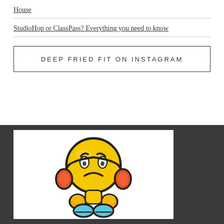House
StudioHop or ClassPass? Everything you need to know
DEEP FRIED FIT ON INSTAGRAM
[Figure (illustration): A cartoon worried/stressed emoji character with a round yellow head, furrowed brows with white highlights, a frown, red/orange headphone-like accessories on the sides, orange round hands, and blue feet/shoes, on a white background. The emoji appears concerned or anxious.]